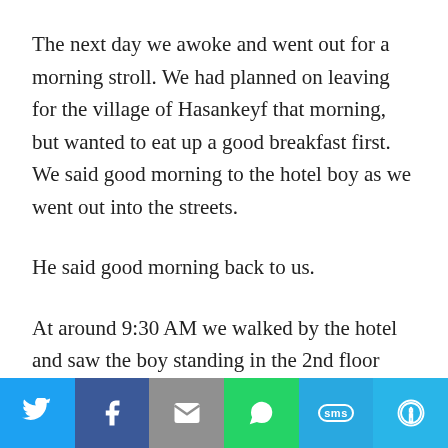The next day we awoke and went out for a morning stroll. We had planned on leaving for the village of Hasankeyf that morning, but wanted to eat up a good breakfast first. We said good morning to the hotel boy as we went out into the streets.
He said good morning back to us.
At around 9:30 AM we walked by the hotel and saw the boy standing in the 2nd floor window. We waved to each other and said hello. He had a big smile on his face.
Social sharing bar: Twitter, Facebook, Email, WhatsApp, SMS, More